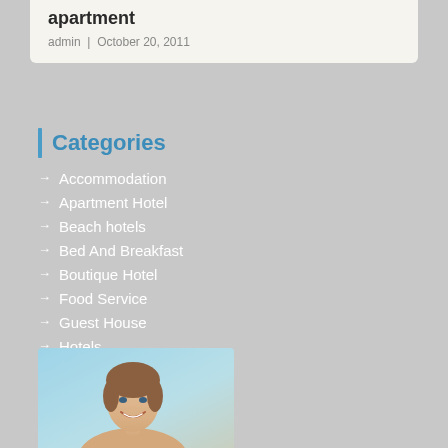apartment
admin | October 20, 2011
Categories
Accommodation
Apartment Hotel
Beach hotels
Bed And Breakfast
Boutique Hotel
Food Service
Guest House
Hotels
Motel
Resorts
Restaurants
Vacations
Villa
[Figure (photo): Photo of a smiling woman with short hair against a light blue/teal background]